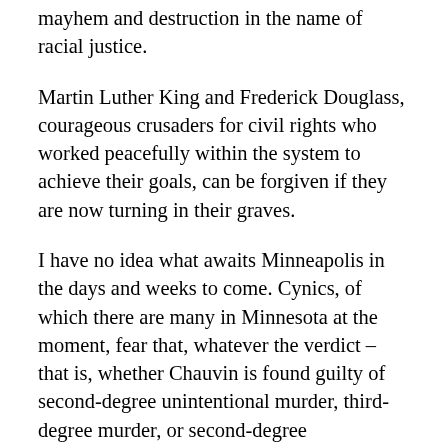mayhem and destruction in the name of racial justice.
Martin Luther King and Frederick Douglass, courageous crusaders for civil rights who worked peacefully within the system to achieve their goals, can be forgiven if they are now turning in their graves.
I have no idea what awaits Minneapolis in the days and weeks to come. Cynics, of which there are many in Minnesota at the moment, fear that, whatever the verdict – that is, whether Chauvin is found guilty of second-degree unintentional murder, third-degree murder, or second-degree manslaughter, or is acquitted of all charges – violence will occur.
I hope very much that they are wrong, but